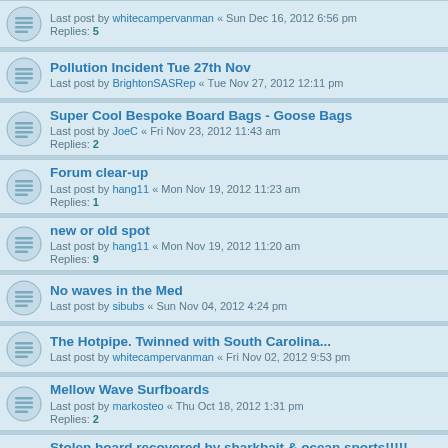Last post by whitecampervanman « Sun Dec 16, 2012 6:56 pm
Replies: 5
Pollution Incident Tue 27th Nov
Last post by BrightonSASRep « Tue Nov 27, 2012 12:11 pm
Super Cool Bespoke Board Bags - Goose Bags
Last post by JoeC « Fri Nov 23, 2012 11:43 am
Replies: 2
Forum clear-up
Last post by hang11 « Mon Nov 19, 2012 11:23 am
Replies: 1
new or old spot
Last post by hang11 « Mon Nov 19, 2012 11:20 am
Replies: 9
No waves in the Med
Last post by sibubs « Sun Nov 04, 2012 4:24 pm
The Hotpipe. Twinned with South Carolina...
Last post by whitecampervanman « Fri Nov 02, 2012 9:53 pm
Mellow Wave Surfboards
Last post by markosteo « Thu Oct 18, 2012 1:31 pm
Replies: 2
Stolen board recovered by sharkbait & ocean sports!!!!!
Last post by sneezemuffin « Tue Oct 16, 2012 12:22 am
Replies: 13
EASYJET Surfboard increase
Last post by Sharkbait « Wed Oct 10, 2012 11:44 am
How do I contact I-PIK photo?
Last post by Sharkbait « Tue Oct 09, 2012 5:34 pm